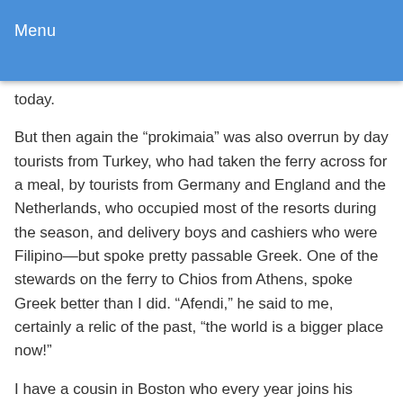Menu
today.
But then again the “prokimaia” was also overrun by day tourists from Turkey, who had taken the ferry across for a meal, by tourists from Germany and England and the Netherlands, who occupied most of the resorts during the season, and delivery boys and cashiers who were Filipino—but spoke pretty passable Greek. One of the stewards on the ferry to Chios from Athens, spoke Greek better than I did. “Afendi,” he said to me, certainly a relic of the past, “the world is a bigger place now!”
I have a cousin in Boston who every year joins his whole family on a round of “kalanda” through his Brahmin neighborhood: I’m sure they don’t sing the old songs from Greece—but they sing the “kalanda” faithfully, and “kalanda” singing is not exclusive to Greece, of course. Every Hallmark movie you see on TV (and we became